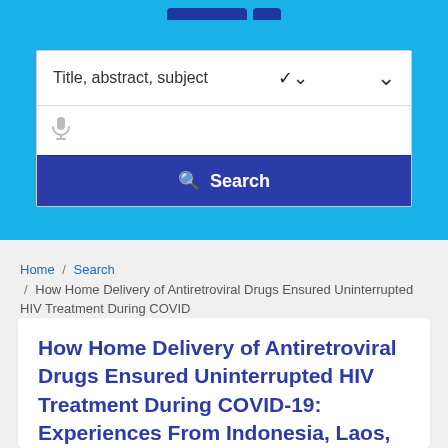[Figure (screenshot): Search interface with dropdown labeled 'Title, abstract, subject', a microphone icon input field, and a blue 'Search' button]
Home / Search / How Home Delivery of Antiretroviral Drugs Ensured Uninterrupted HIV Treatment During COVID
How Home Delivery of Antiretroviral Drugs Ensured Uninterrupted HIV Treatment During COVID-19: Experiences From Indonesia, Laos, Nepal, and Nigeria.